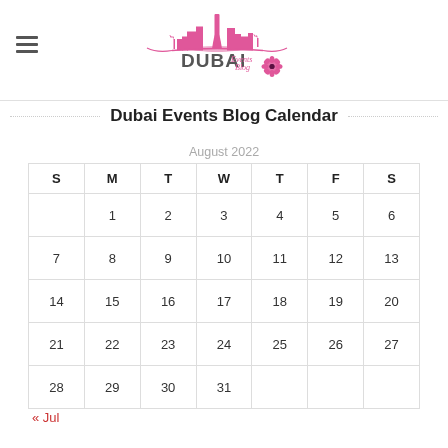[Figure (logo): Dubai Events Blog logo with pink city skyline silhouette and pink flower, text 'DUBAI Events Blog' in pink]
Dubai Events Blog Calendar
August 2022
| S | M | T | W | T | F | S |
| --- | --- | --- | --- | --- | --- | --- |
|  | 1 | 2 | 3 | 4 | 5 | 6 |
| 7 | 8 | 9 | 10 | 11 | 12 | 13 |
| 14 | 15 | 16 | 17 | 18 | 19 | 20 |
| 21 | 22 | 23 | 24 | 25 | 26 | 27 |
| 28 | 29 | 30 | 31 |  |  |  |
« Jul